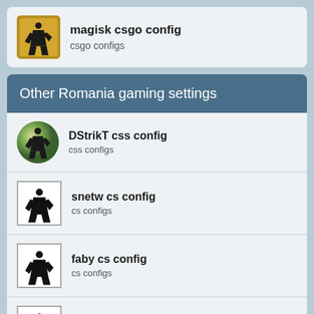magisk csgo config
csgo configs
Other Romania gaming settings
DStrikT css config
css configs
snetw cs config
cs configs
faby cs config
cs configs
a.cfg cs config
cs configs
TuRb0FiN cs config